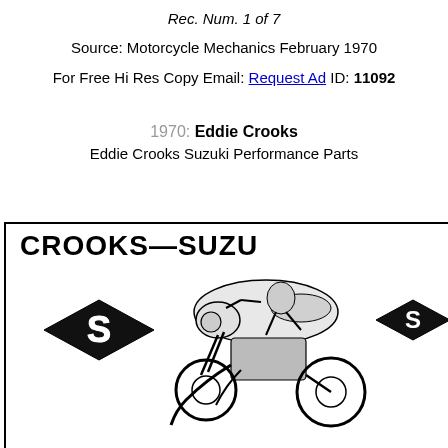Rec. Num. 1 of 7
Source: Motorcycle Mechanics February 1970
For Free Hi Res Copy Email: Request Ad ID: 11092
1970: Eddie Crooks
Eddie Crooks Suzuki Performance Parts
[Figure (photo): Scanned advertisement for Crooks-Suzuki showing the Suzuki logo (diamond S emblems) and a racing motorcycle image. The ad headline reads 'CROOKS—SUZU' (partially visible).]